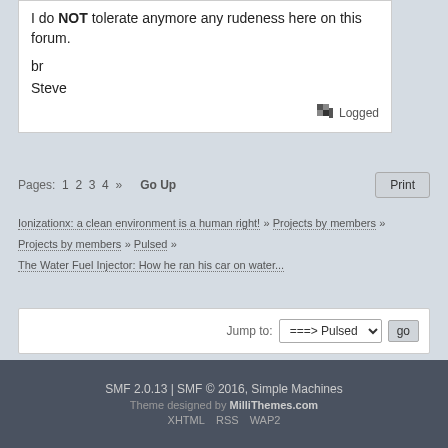I do NOT tolerate anymore any rudeness here on this forum.

br

Steve

Logged
Pages: 1 2 3 4 »  Go Up  Print
Ionizationx: a clean environment is a human right! » Projects by members » Projects by members » Pulsed » The Water Fuel Injector: How he ran his car on water...
Jump to: ===> Pulsed  go
SMF 2.0.13 | SMF © 2016, Simple Machines
Theme designed by MilliThemes.com
XHTML  RSS  WAP2